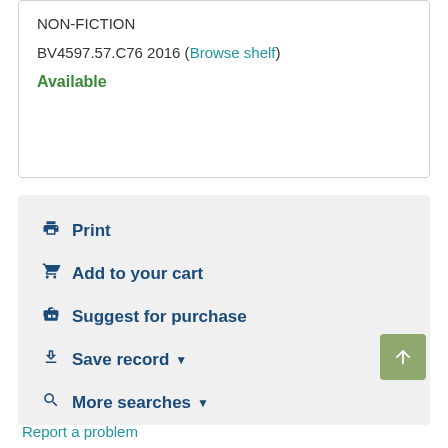NON-FICTION
BV4597.57.C76 2016 (Browse shelf)
Available
Print
Add to your cart
Suggest for purchase
Save record
More searches
Report a problem